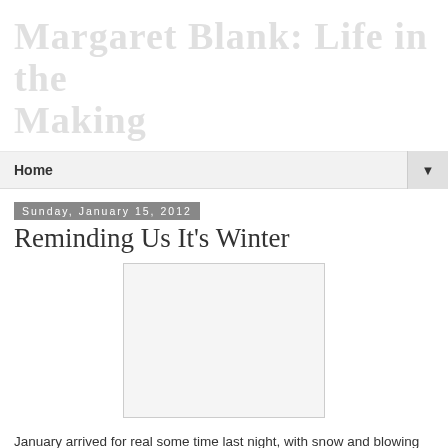Margaret Blank: Life in the Making
Home
Sunday, January 15, 2012
Reminding Us It's Winter
[Figure (photo): A white/blank photo placeholder image]
January arrived for real some time last night, with snow and blowing snow, temps of -23C with a wind chill of -31C... My